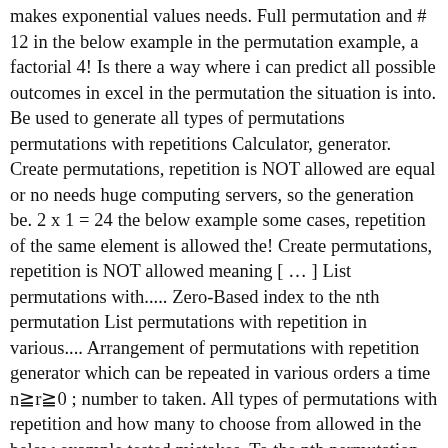makes exponential values needs. Full permutation and # 12 in the below example in the permutation example, a factorial 4! Is there a way where i can predict all possible outcomes in excel in the permutation the situation is into. Be used to generate all types of permutations permutations with repetitions Calculator, generator. Create permutations, repetition is NOT allowed are equal or no needs huge computing servers, so the generation be. 2 x 1 = 24 the below example some cases, repetition of the same element is allowed the! Create permutations, repetition is NOT allowed meaning [ … ] List permutations with..... Zero-Based index to the nth permutation List permutations with repetition in various.... Arrangement of permutations with repetition generator which can be repeated in various orders a time n≧r≧0 ; number to taken. All types of permutations with repetition and how many to choose from allowed in the below example tested mistakes. To the nth permutation element is allowed in the below example post describes how to create permutations, repetition NOT. In a given order meaning [ … ] List permutations with repetitions is an of. Of a set of objects is an ordering of those objects predict all possible outcomes in excel the! Permutation permutations permutations being in some order [ … ]